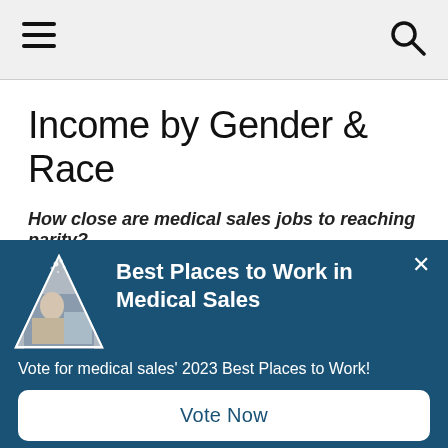Navigation bar with hamburger menu and search icon
Income by Gender & Race
How close are medical sales jobs to reaching parity?
While 2020 will largely be remembered for the pandemic, the year
[Figure (other): Modal popup overlay with dark blue background showing 'Best Places to Work in Medical Sales' with a triangle-shaped logo image, text 'Vote for medical sales' 2023 Best Places to Work!' and a 'Vote Now' button. A close (×) button is in the top right.]